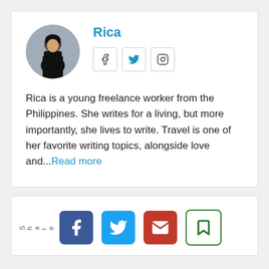[Figure (photo): Circular avatar photo of Rica, a young woman with dark hair, wearing a black outfit, with a blurred background]
Rica
[Figure (other): Social media icons: Facebook (f), Twitter (bird), Instagram (camera)]
Rica is a young freelance worker from the Philippines. She writes for a living, but more importantly, she lives to write. Travel is one of her favorite writing topics, alongside love and...Read more
[Figure (other): Share bar with Facebook, Twitter, Email, and Bookmark icons]